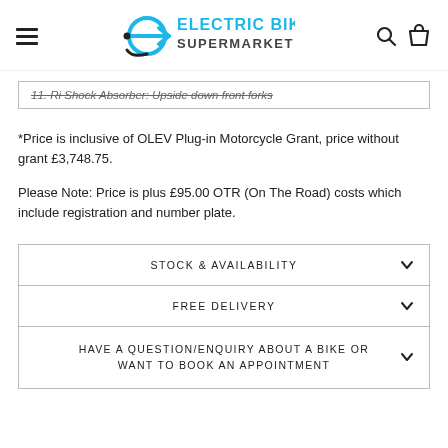Electric Bike Supermarket
11. Ri Shock Absorber: Upside down front forks
*Price is inclusive of OLEV Plug-in Motorcycle Grant, price without grant £3,748.75.
Please Note: Price is plus £95.00 OTR (On The Road) costs which include registration and number plate.
STOCK & AVAILABILITY
FREE DELIVERY
HAVE A QUESTION/ENQUIRY ABOUT A BIKE OR WANT TO BOOK AN APPOINTMENT